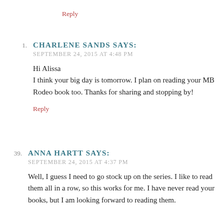Reply
1. CHARLENE SANDS SAYS:
SEPTEMBER 24, 2015 AT 4:48 PM

Hi Alissa
I think your big day is tomorrow. I plan on reading your MB Rodeo book too. Thanks for sharing and stopping by!

Reply
39. ANNA HARTT SAYS:
SEPTEMBER 24, 2015 AT 4:37 PM

Well, I guess I need to go stock up on the series. I like to read them all in a row, so this works for me. I have never read your books, but I am looking forward to reading them.